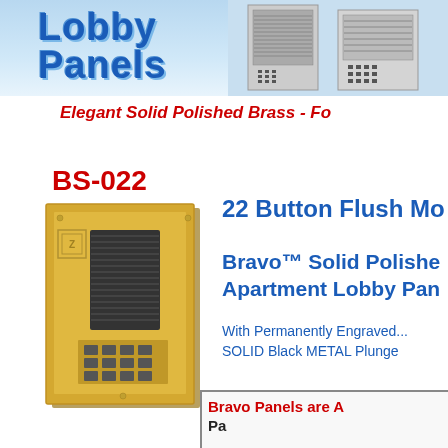[Figure (logo): Lobby Panels logo with blue stylized text and panel device images in banner]
Elegant Solid Polished Brass - Fo
BS-022
[Figure (photo): BS-022 brass lobby panel with 22 buttons and keypad]
22 Button Flush Mo
Bravo™ Solid Polishe Apartment Lobby Pan
With Permanently Engraved... SOLID Black METAL Plunge
Bravo Panels are A
Pa